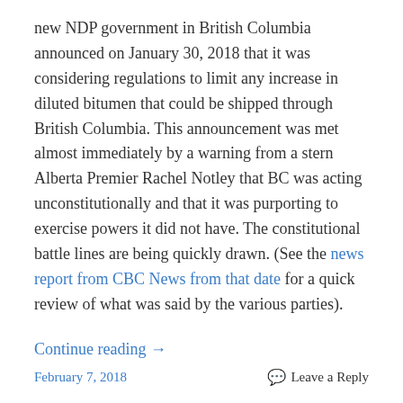new NDP government in British Columbia announced on January 30, 2018 that it was considering regulations to limit any increase in diluted bitumen that could be shipped through British Columbia. This announcement was met almost immediately by a warning from a stern Alberta Premier Rachel Notley that BC was acting unconstitutionally and that it was purporting to exercise powers it did not have. The constitutional battle lines are being quickly drawn. (See the news report from CBC News from that date for a quick review of what was said by the various parties).
Continue reading →
February 7, 2018   Leave a Reply